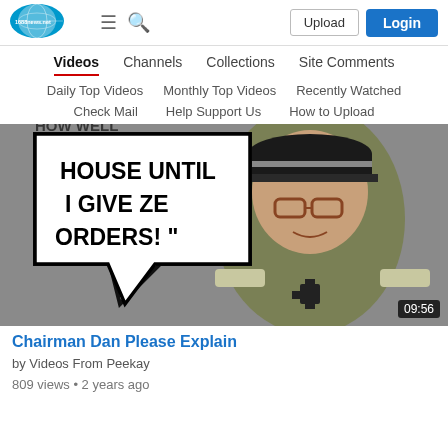[Figure (logo): 1688news.net logo — oval blue/teal globe-like icon with site name]
Upload  Login
Videos  Channels  Collections  Site Comments
Daily Top Videos  Monthly Top Videos  Recently Watched
Check Mail  Help Support Us  How to Upload
[Figure (photo): Video thumbnail showing a man's face photoshopped onto a military uniform with a speech bubble reading 'HOUSE UNTIL I GIVE ZE ORDERS!' with a duration badge of 09:56]
Chairman Dan Please Explain
by Videos From Peekay
809 views • 2 years ago